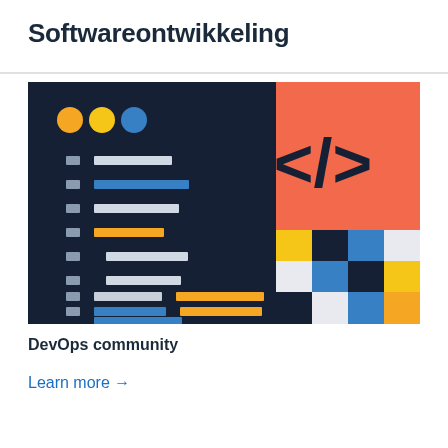Softwareontwikkeling
[Figure (illustration): Illustration of a code editor with colorful syntax-highlighted lines on a dark navy background (left panel) and a coral/orange rectangle with a code tag symbol </> (right top), plus a checkerboard mosaic pattern of navy, white, blue, and yellow squares (right bottom).]
DevOps community
Learn more →